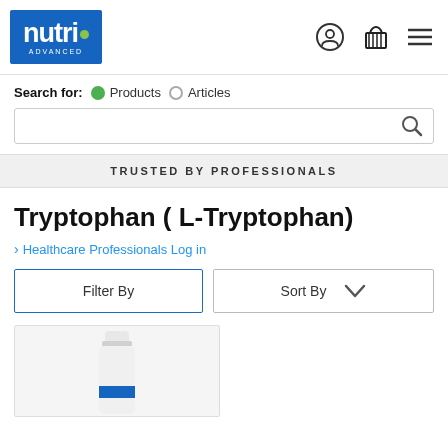[Figure (logo): Nutri Advanced logo — blue rectangle with white 'nutri' text and green dot, 'ADVANCED' subtitle]
Search for:   Products   Articles
TRUSTED BY PROFESSIONALS
Tryptophan ( L-Tryptophan)
> Healthcare Professionals Log in
Filter By
Sort By
[Figure (photo): Partial view of a white supplement bottle with blue label, cropped at bottom of page]